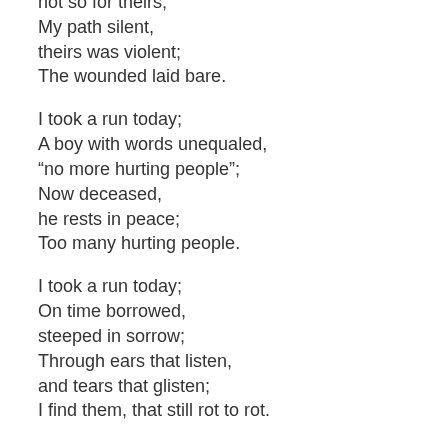not so for theirs;
My path silent,
theirs was violent;
The wounded laid bare.

I took a run today;
A boy with words unequaled,
“no more hurting people”;
Now deceased,
he rests in peace;
Too many hurting people.

I took a run today;
On time borrowed,
steeped in sorrow;
Through ears that listen,
and tears that glisten;
I find them, that still rot to rot.